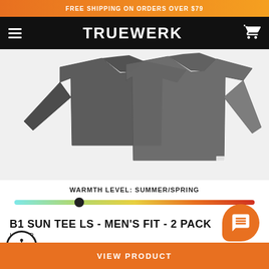FREE SHIPPING ON ORDERS OVER $79
[Figure (logo): TRUEWERK brand navigation bar with hamburger menu icon on left, TRUEWERK logo in center, shopping cart icon on right, all on black background]
[Figure (photo): Two gray long-sleeve athletic shirts (B1 Sun Tee LS) shown from back/side views on white background]
WARMTH LEVEL: SUMMER/SPRING
[Figure (infographic): Warmth level slider bar ranging from cool (teal/blue) on left to hot (red) on right, with dark circular thumb positioned at approximately 27% from left, indicating Summer/Spring warmth level]
B1 SUN TEE LS - MEN'S FIT - 2 PACK
LAYER
[Figure (other): Orange rounded chat/messaging button icon]
[Figure (other): Accessibility icon - circular button with person/accessibility symbol]
VIEW PRODUCT